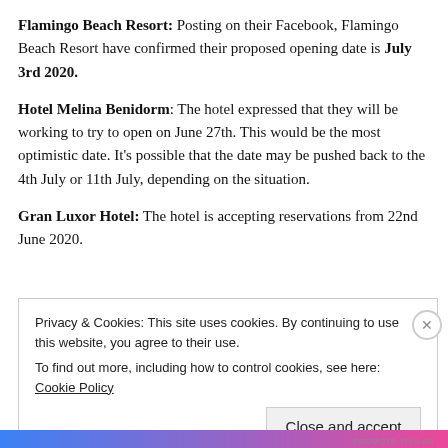Flamingo Beach Resort: Posting on their Facebook, Flamingo Beach Resort have confirmed their proposed opening date is July 3rd 2020.
Hotel Melina Benidorm: The hotel expressed that they will be working to try to open on June 27th. This would be the most optimistic date. It's possible that the date may be pushed back to the 4th July or 11th July, depending on the situation.
Gran Luxor Hotel: The hotel is accepting reservations from 22nd June 2020.
Privacy & Cookies: This site uses cookies. By continuing to use this website, you agree to their use. To find out more, including how to control cookies, see here: Cookie Policy
Close and accept